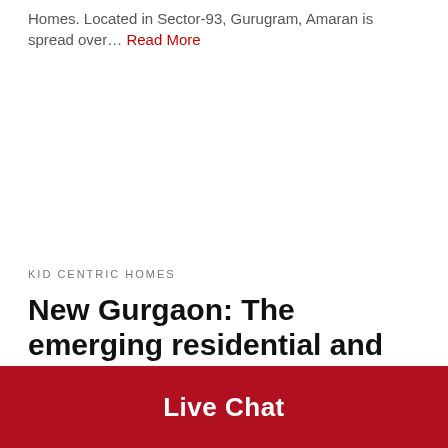Homes. Located in Sector-93, Gurugram, Amaran is spread over… Read More
KID CENTRIC HOMES
New Gurgaon: The emerging residential and commercial hotspot in NCR
Live Chat